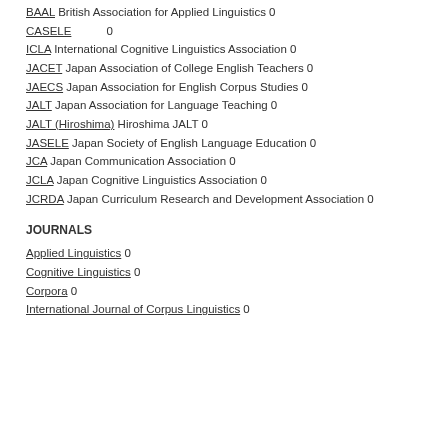BAAL British Association for Applied Linguistics 0
CASELE 0
ICLA International Cognitive Linguistics Association 0
JACET Japan Association of College English Teachers 0
JAECS Japan Association for English Corpus Studies 0
JALT Japan Association for Language Teaching 0
JALT (Hiroshima) Hiroshima JALT 0
JASELE Japan Society of English Language Education 0
JCA Japan Communication Association 0
JCLA Japan Cognitive Linguistics Association 0
JCRDA Japan Curriculum Research and Development Association 0
JOURNALS
Applied Linguistics 0
Cognitive Linguistics 0
Corpora 0
International Journal of Corpus Linguistics 0